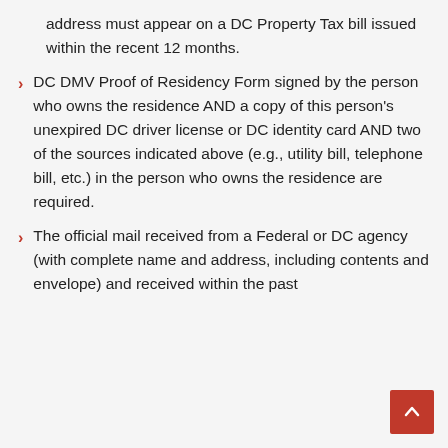address must appear on a DC Property Tax bill issued within the recent 12 months.
DC DMV Proof of Residency Form signed by the person who owns the residence AND a copy of this person's unexpired DC driver license or DC identity card AND two of the sources indicated above (e.g., utility bill, telephone bill, etc.) in the person who owns the residence are required.
The official mail received from a Federal or DC agency (with complete name and address, including contents and envelope) and received within the past